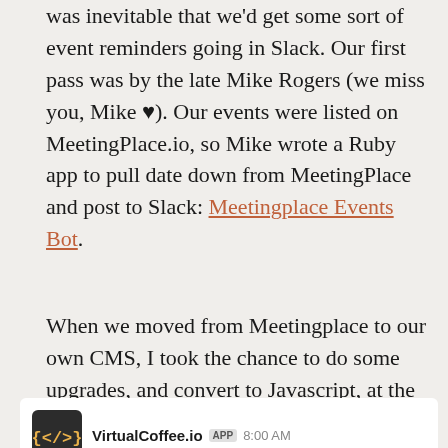was inevitable that we'd get some sort of event reminders going in Slack. Our first pass was by the late Mike Rogers (we miss you, Mike ♥). Our events were listed on MeetingPlace.io, so Mike wrote a Ruby app to pull date down from MeetingPlace and post to Slack: Meetingplace Events Bot.
When we moved from Meetingplace to our own CMS, I took the chance to do some upgrades, and convert to Javascript, at the same time. Follow along and we can get some event reminders going for you!
[Figure (screenshot): Slack message card from VirtualCoffee.io APP at 8:00 AM showing 'Today's Events Are:' with a calendar emoji]